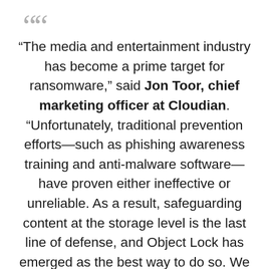“The media and entertainment industry has become a prime target for ransomware,” said Jon Toor, chief marketing officer at Cloudian. “Unfortunately, traditional prevention efforts—such as phishing awareness training and anti-malware software—have proven either ineffective or unreliable. As a result, safeguarding content at the storage level is the last line of defense, and Object Lock has emerged as the best way to do so. We appreciate NAB recognizing Cloudian for helping media organizations